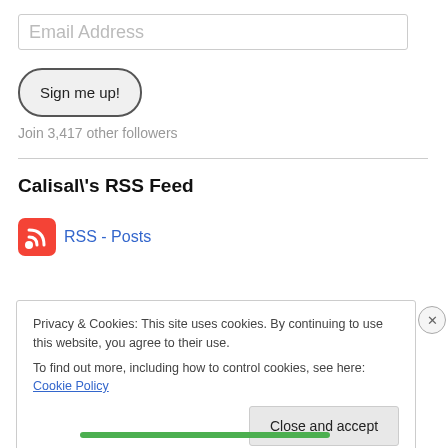Email Address
Sign me up!
Join 3,417 other followers
Calisal\'s RSS Feed
RSS - Posts
Privacy & Cookies: This site uses cookies. By continuing to use this website, you agree to their use. To find out more, including how to control cookies, see here: Cookie Policy
Close and accept